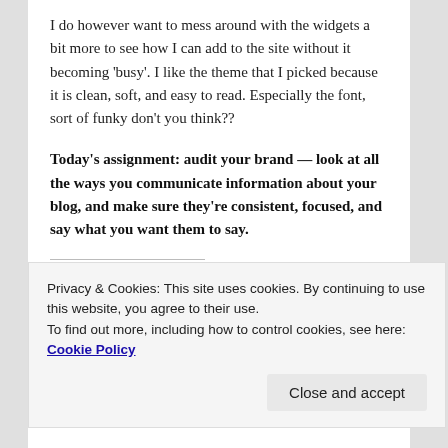I do however want to mess around with the widgets a bit more to see how I can add to the site without it becoming ‘busy’. I like the theme that I picked because it is clean, soft, and easy to read. Especially the font, sort of funky don’t you think??
Today’s assignment: audit your brand — look at all the ways you communicate information about your blog, and make sure they’re consistent, focused, and say what you want them to say.
SHARE THIS:
[Figure (other): Four social sharing icon buttons: Twitter (blue circle), Facebook (dark blue circle), Pinterest (red circle), Email (grey circle)]
Privacy & Cookies: This site uses cookies. By continuing to use this website, you agree to their use.
To find out more, including how to control cookies, see here: Cookie Policy
Close and accept